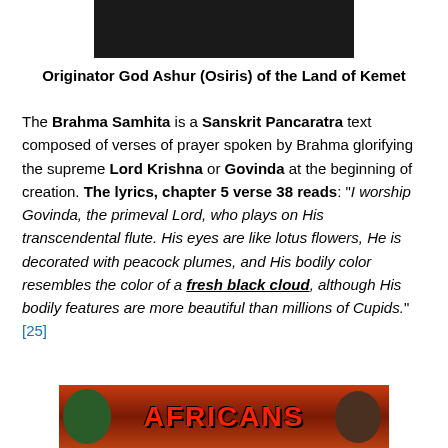[Figure (photo): Dark image, likely a bust or figure, cropped at top of page]
Originator God Ashur (Osiris) of the Land of Kemet
The Brahma Samhita is a Sanskrit Pancaratra text composed of verses of prayer spoken by Brahma glorifying the supreme Lord Krishna or Govinda at the beginning of creation. The lyrics, chapter 5 verse 38 reads: “I worship Govinda, the primeval Lord, who plays on His transcendental flute. His eyes are like lotus flowers, He is decorated with peacock plumes, and His bodily color resembles the color of a fresh black cloud, although His bodily features are more beautiful than millions of Cupids.”[25]
[Figure (photo): Image showing the word AFRICANS in red bold text on a dramatic orange/red sky background, with figures on either side]